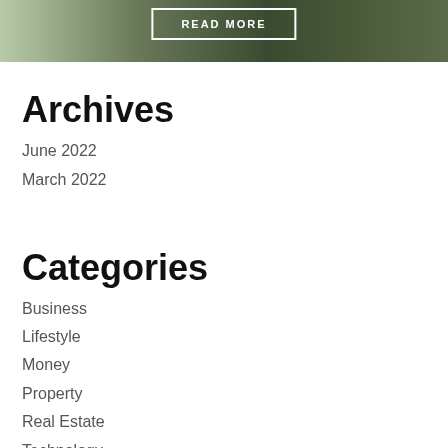[Figure (photo): Photo banner showing people and green garden foliage with a READ MORE button overlay]
Archives
June 2022
March 2022
Categories
Business
Lifestyle
Money
Property
Real Estate
Technology